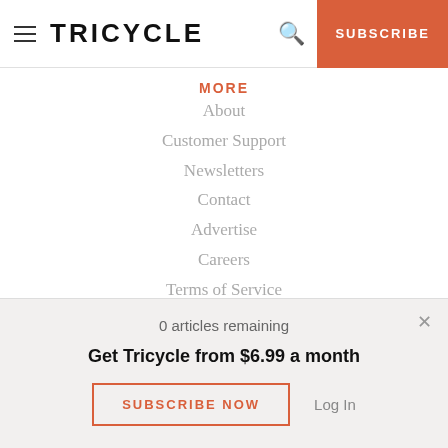TRICYCLE  SUBSCRIBE
MORE
About
Customer Support
Newsletters
Contact
Advertise
Careers
Terms of Service
Privacy Policy
TRICYCLE
0 articles remaining
Get Tricycle from $6.99 a month
SUBSCRIBE NOW   Log In